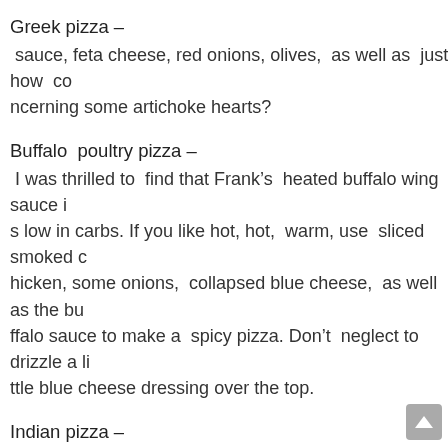Greek pizza –
sauce, feta cheese, red onions, olives,  as well as  just how  concerning some artichoke hearts?
Buffalo  poultry pizza –
I was thrilled to  find that Frank's  heated buffalo wing sauce is low in carbs. If you like hot, hot,  warm, use  sliced  smoked chicken, some onions,  collapsed blue cheese,  as well as the buffalo sauce to make a  spicy pizza. Don't  neglect to drizzle a little blue cheese dressing over the top.
Indian pizza –
There's a  neighborhood  dining establishment nearby that  focuses on Indian pizzas, which gave me the  suggestion of making my own. If you  pick to make this  tasty  choice, you can